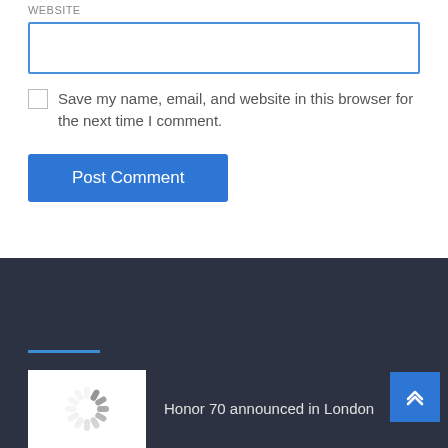WEBSITE
[Figure (screenshot): Text input field with blue border for website URL entry]
Save my name, email, and website in this browser for the next time I comment.
[Figure (screenshot): Blue 'Post Comment' button]
[Figure (screenshot): Dark footer section with blue horizontal line, thumbnail image with spinner icon, article title 'Honor 70 announced in London', and blue scroll-to-top button with chevron icon]